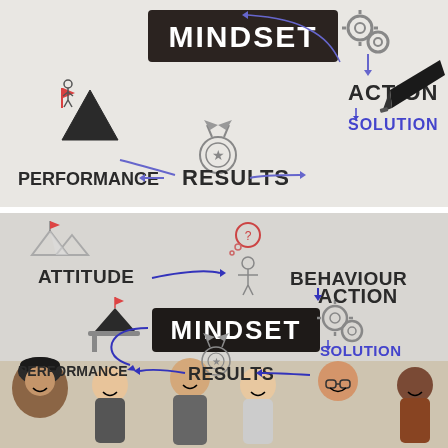[Figure (infographic): Top image: whiteboard-style infographic on light gray background showing 'MINDSET' in a dark chalkboard-style box at the top center, with words PERFORMANCE (left), RESULTS (center), ACTION (top right), SOLUTION (right, in blue), connected by arrows. A large black marker pen appears at right. A mountain/achievement illustration on the left. A ribbon/medal icon in the center.]
[Figure (infographic): Bottom image: similar whiteboard-style infographic over a photo of six diverse smiling people. Shows MINDSET in dark box center, with ATTITUDE (upper left, with mountain peaks), BEHAVIOUR (upper right, with thinking person icon), ACTION (right, with gear icons), SOLUTION (lower right, in blue), PERFORMANCE (lower left, with mountain/flag), RESULTS (lower center, with medal icon). Blue curved arrows connect concepts.]